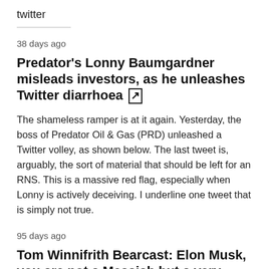twitter
38 days ago
Predator's Lonny Baumgardner misleads investors, as he unleashes Twitter diarrhoea [external link icon]
The shameless ramper is at it again. Yesterday, the boss of Predator Oil & Gas (PRD) unleashed a Twitter volley, as shown below. The last tweet is, arguably, the sort of material that should be left for an RNS. This is a massive red flag, especially when Lonny is actively deceiving. I underline one tweet that is simply not true.
95 days ago
Tom Winnifrith Bearcast: Elon Musk, you are not a Messiah but a very